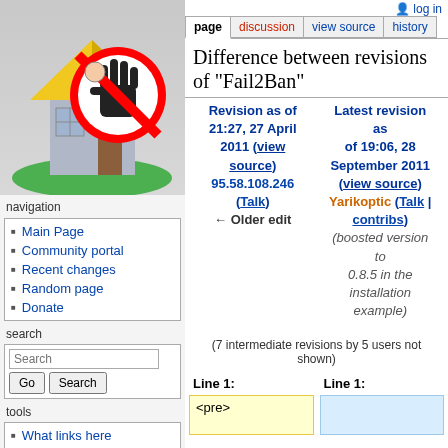[Figure (illustration): Wikipedia/wiki logo showing a house with a no-entry hand sign (Fail2Ban logo)]
log in
page | discussion | view source | history
Difference between revisions of "Fail2Ban"
| Revision as of 21:27, 27 April 2011 (view source) | Latest revision as of 19:06, 28 September 2011 (view source) |
| --- | --- |
| 95.58.108.246 | Yarikoptic (Talk | contribs) |
| (Talk) |  |
| ← Older edit | (boosted version to 0.8.5 in the installation example) |
(7 intermediate revisions by 5 users not shown)
Line 1:   Line 1:
<pre>
Main Page
Community portal
Recent changes
Random page
Donate
What links here
Related changes
Special pages
Printable version